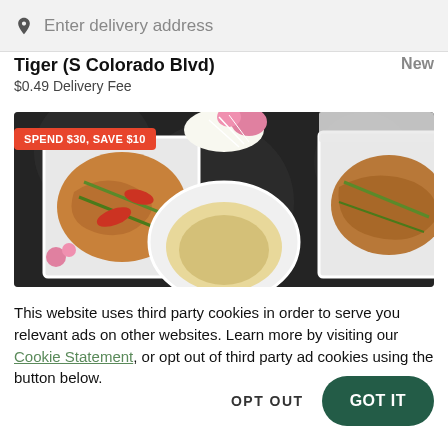Enter delivery address
Tiger (S Colorado Blvd)
$0.49 Delivery Fee
New
[Figure (photo): Food photo showing multiple white plates with Thai dishes on a dark granite table, with a promotional badge reading SPEND $30, SAVE $10]
This website uses third party cookies in order to serve you relevant ads on other websites. Learn more by visiting our Cookie Statement, or opt out of third party ad cookies using the button below.